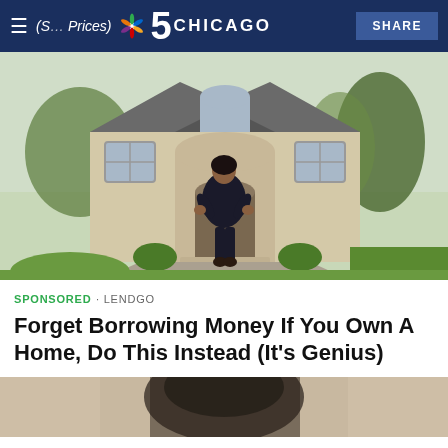NBC 5 CHICAGO | SHARE
[Figure (photo): Woman in black dress standing in front of a large upscale suburban home with green trees and manicured landscaping]
SPONSORED · LENDGO
Forget Borrowing Money If You Own A Home, Do This Instead (It's Genius)
[Figure (photo): Partial view of a second image at the bottom of the page, showing a close-up of what appears to be a house or object, tan/beige tones]